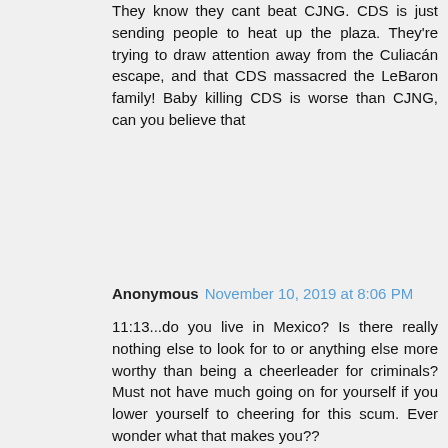They know they cant beat CJNG. CDS is just sending people to heat up the plaza. They're trying to draw attention away from the Culiacán escape, and that CDS massacred the LeBaron family! Baby killing CDS is worse than CJNG, can you believe that
Anonymous  November 10, 2019 at 8:06 PM
11:13...do you live in Mexico? Is there really nothing else to look for to or anything else more worthy than being a cheerleader for criminals? Must not have much going on for yourself if you lower yourself to cheering for this scum. Ever wonder what that makes you??
Anonymous  November 11, 2019 at 1:59 AM
And your comment will still back your loud mouth a year from now, marro will be history right, I didn't think so!